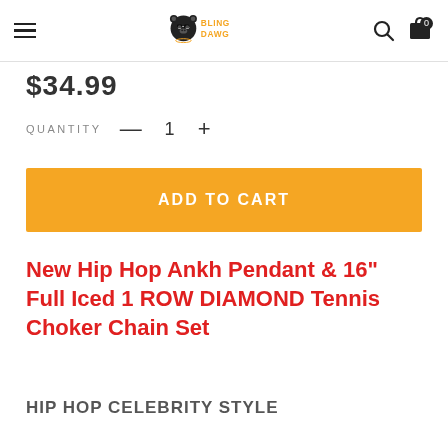Bling Dawg — navigation bar with hamburger menu, logo, search and cart icons
$34.99
QUANTITY — 1
ADD TO CART
New Hip Hop Ankh Pendant & 16" Full Iced 1 ROW DIAMOND Tennis Choker Chain Set
HIP HOP CELEBRITY STYLE